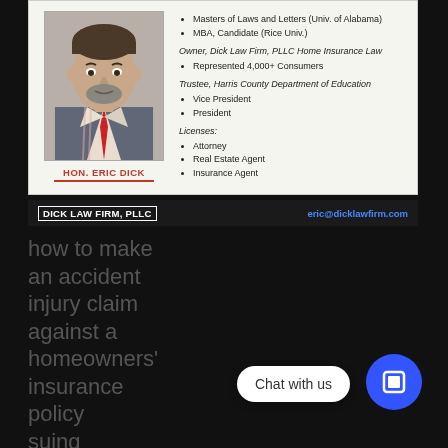[Figure (photo): Headshot photo of Hon. Eric Dick in suit with red tie]
HON. ERIC DICK
Masters of Laws and Letters (Univ. of Alabama)
MBA, Candidate (Rice Univ.)
Owner, Dick Law Firm, PLLC Home Insurance Law
Represented 4,000+ Consumers
Trustee, Harris County Department of Education
Vice President
President
Licenses:
Attorney
Real Estate Agent
Insurance Agent
DICK LAW FIRM, PLLC   eric@dicklawfirm.com
how to make an accident injury claim against a homeowners' insurance policy suing homeowners insurance for injury
[Figure (other): Chat with us widget bubble and blue icon button]